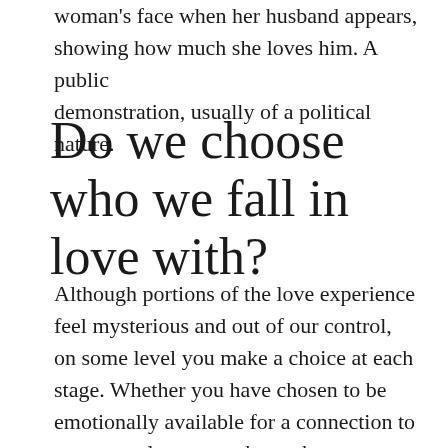woman's face when her husband appears, showing how much she loves him. A public demonstration, usually of a political nature.
Do we choose who we fall in love with?
Although portions of the love experience feel mysterious and out of our control, on some level you make a choice at each stage. Whether you have chosen to be emotionally available for a connection to someone else, or you have chosen to maintain the love you created, in the end you have made a choice.